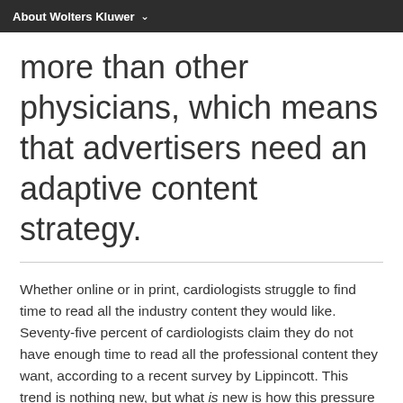About Wolters Kluwer
more than other physicians, which means that advertisers need an adaptive content strategy.
Whether online or in print, cardiologists struggle to find time to read all the industry content they would like. Seventy-five percent of cardiologists claim they do not have enough time to read all the professional content they want, according to a recent survey by Lippincott. This trend is nothing new, but what is new is how this pressure is creating a desire among cardiologists for new, abbreviated content formats and new personal styles of